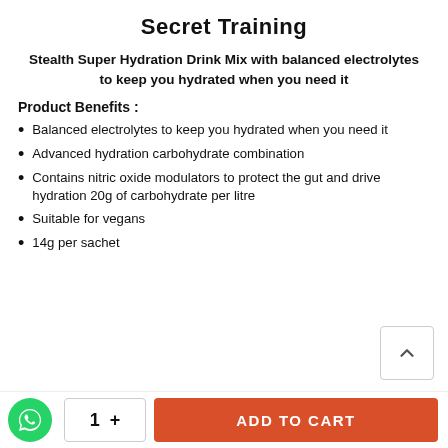Secret Training
Stealth Super Hydration Drink Mix with balanced electrolytes to keep you hydrated when you need it
Product Benefits :
Balanced electrolytes to keep you hydrated when you need it
Advanced hydration carbohydrate combination
Contains nitric oxide modulators to protect the gut and drive hydration 20g of carbohydrate per litre
Suitable for vegans
14g per sachet